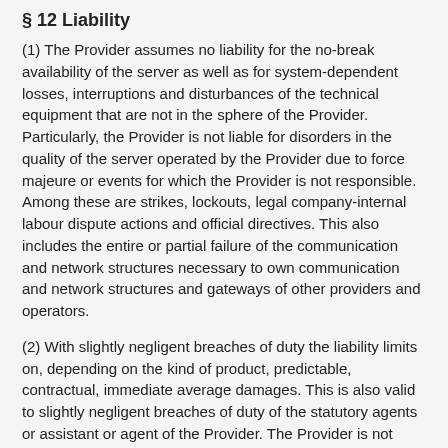§ 12 Liability
(1) The Provider assumes no liability for the no-break availability of the server as well as for system-dependent losses, interruptions and disturbances of the technical equipment that are not in the sphere of the Provider. Particularly, the Provider is not liable for disorders in the quality of the server operated by the Provider due to force majeure or events for which the Provider is not responsible. Among these are strikes, lockouts, legal company-internal labour dispute actions and official directives. This also includes the entire or partial failure of the communication and network structures necessary to own communication and network structures and gateways of other providers and operators.
(2) With slightly negligent breaches of duty the liability limits on, depending on the kind of product, predictable, contractual, immediate average damages. This is also valid to slightly negligent breaches of duty of the statutory agents or assistant or agent of the Provider. The Provider is not liable for slightly negligent violation of inessential contractual obligations. However, the Provider is liable for the violation of the Contract as particularly obligated...